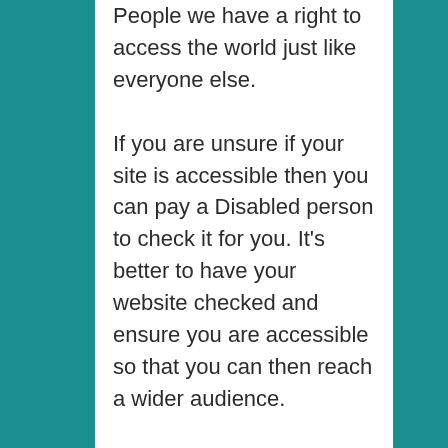People we have a right to access the world just like everyone else.
If you are unsure if your site is accessible then you can pay a Disabled person to check it for you. It's better to have your website checked and ensure you are accessible so that you can then reach a wider audience.
Anyway, thats me for now. I have back pain so I'm going to stop writing now.